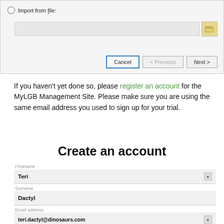[Figure (screenshot): Dialog box fragment showing 'Import from file:' radio option with file input field and browse button, plus Cancel, < Previous, and Next > buttons at the bottom.]
If you haven't yet done so, please register an account for the MyLGB Management Site. Please make sure you are using the same email address you used to sign up for your trial.
Create an account
Firstname
Teri
Surname
Dactyl
Email address
teri.dactyl@dinosaurs.com